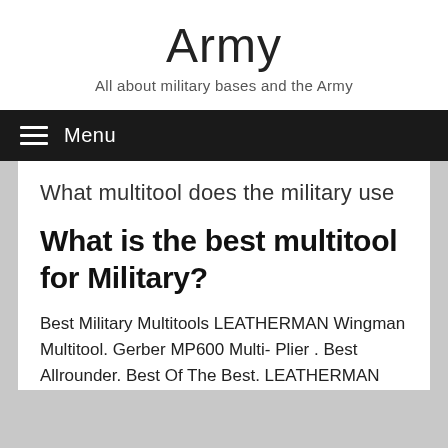Army
All about military bases and the Army
≡ Menu
What multitool does the military use
What is the best multitool for Military?
Best Military Multitools LEATHERMAN Wingman Multitool. Gerber MP600 Multi- Plier . Best Allrounder. Best Of The Best. LEATHERMAN